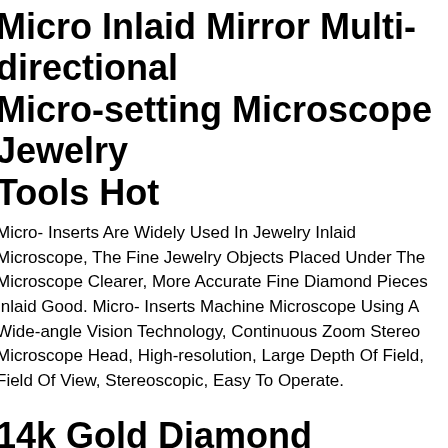Micro Inlaid Mirror Multi-directional Micro-setting Microscope Jewelry Tools Hot
Micro- Inserts Are Widely Used In Jewelry Inlaid Microscope, The Fine Jewelry Objects Placed Under The Microscope Clearer, More Accurate Fine Diamond Pieces Inlaid Good. Micro- Inserts Machine Microscope Using A Wide-angle Vision Technology, Continuous Zoom Stereo Microscope Head, High-resolution, Large Depth Of Field, Field Of View, Stereoscopic, Easy To Operate.
14k Gold Diamond Brilliant Micro Pave Band Diamond Ring For Women
Since Most Products Are Handmade And Made In Our Workroom, You Can Ask Us Any Form Of Personalization. You Can Choose From Rose Gold, Yellow Gold Or White Gold. So Many Options! Stunning Minimalist Ring.